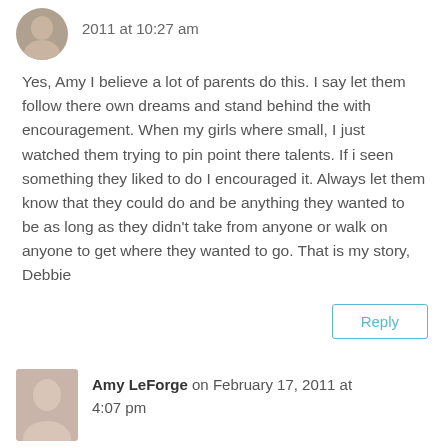2011 at 10:27 am
Yes, Amy I believe a lot of parents do this. I say let them follow there own dreams and stand behind the with encouragement. When my girls where small, I just watched them trying to pin point there talents. If i seen something they liked to do I encouraged it. Always let them know that they could do and be anything they wanted to be as long as they didn't take from anyone or walk on anyone to get where they wanted to go. That is my story, Debbie
Reply
Amy LeForge on February 17, 2011 at 4:07 pm